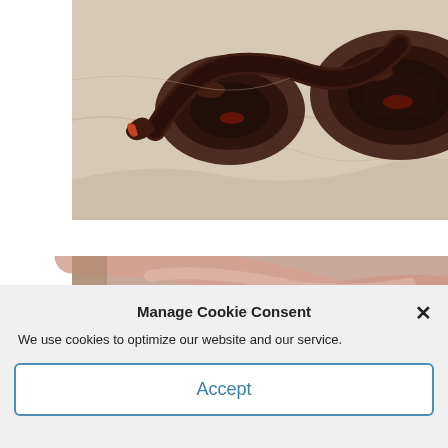[Figure (photo): Photo of dark grilled/smoked sausage links arranged on brown parchment paper, with what appears to be a yellow condiment bottle in the background.]
[Figure (photo): Photo showing a person's hands/arms, partially visible, on a pink surface.]
Manage Cookie Consent
We use cookies to optimize our website and our service.
Accept